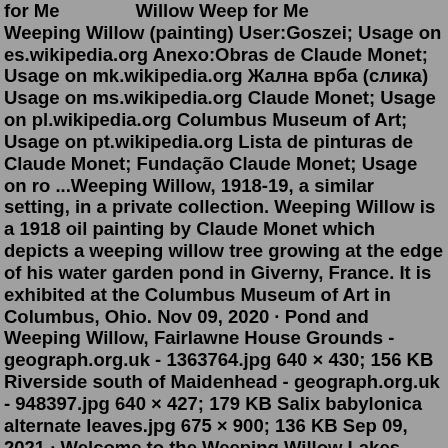for Me　　　　Willow Weep for Me　　　　　　　　　　　　　　　　Weeping Willow (painting) User:Goszei; Usage on es.wikipedia.org Anexo:Obras de Claude Monet; Usage on mk.wikipedia.org Жална врба (слика) Usage on ms.wikipedia.org Claude Monet; Usage on pl.wikipedia.org Columbus Museum of Art; Usage on pt.wikipedia.org Lista de pinturas de Claude Monet; Fundação Claude Monet; Usage on ro ...Weeping Willow, 1918-19, a similar setting, in a private collection. Weeping Willow is a 1918 oil painting by Claude Monet which depicts a weeping willow tree growing at the edge of his water garden pond in Giverny, France. It is exhibited at the Columbus Museum of Art in Columbus, Ohio. Nov 09, 2020 · Pond and Weeping Willow, Fairlawne House Grounds - geograph.org.uk - 1363764.jpg 640 × 430; 156 KB Riverside south of Maidenhead - geograph.org.uk - 948397.jpg 640 × 427; 179 KB Salix babylonica alternate leaves.jpg 675 × 900; 136 KB Sep 09, 2021 · Welcome to the Weeping Willow Lakes fishing